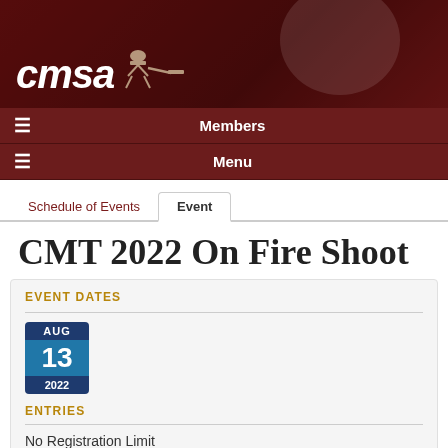[Figure (logo): CMSA logo with cowboy/shooter silhouette on dark red background]
Members
Menu
Schedule of Events | Event
CMT 2022 On Fire Shoot
EVENT DATES
AUG 13 2022
ENTRIES
No Registration Limit
60 Complete
60 Total